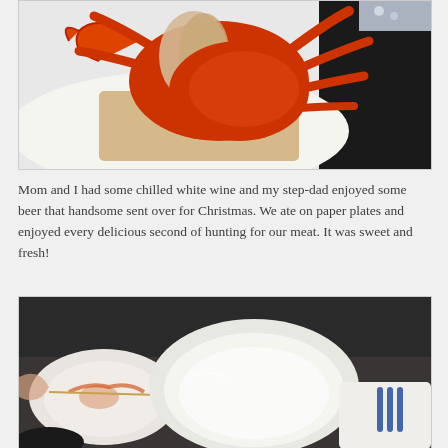[Figure (photo): Close-up photo of a red/orange cooked crab with claws and legs visible, placed on a white surface with a wooden cutting board visible]
Mom and I had some chilled white wine and my step-dad enjoyed some beer that handsome sent over for Christmas. We ate on paper plates and enjoyed every delicious second of hunting for our meat. It was sweet and fresh!
[Figure (photo): Photo of empty white bowls and plates on a dark surface, with what appears to be crab remnants, a toothpick, and blue utensils visible]